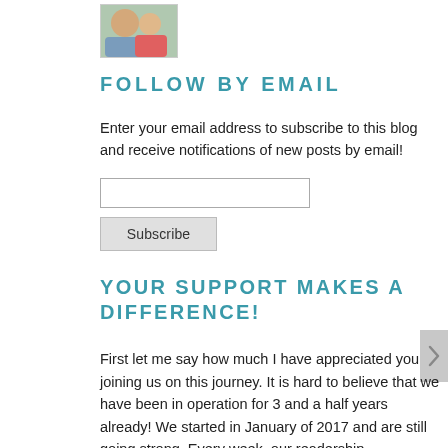[Figure (photo): Small thumbnail photo of a person outdoors]
FOLLOW BY EMAIL
Enter your email address to subscribe to this blog and receive notifications of new posts by email!
YOUR SUPPORT MAKES A DIFFERENCE!
First let me say how much I have appreciated you joining us on this journey. It is hard to believe that we have been in operation for 3 and a half years already! We started in January of 2017 and are still going strong. Every week, our readership